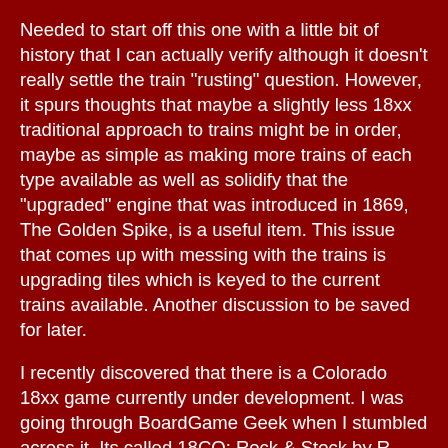Needed to start off this one with a little bit of history that I can actually verify although it doesn't really settle the train "rusting" question. However, it spurs thoughts that maybe a slightly less 18xx traditional approach to trains might be in order, maybe as simple as making more trains of each type available as well as solidify that the "upgraded" engine that was introduced in 1869, The Golden Spike, is a useful item. This issue that comes up with messing with the trains is upgrading tiles which is keyed to the current trains available. Another discussion to be saved for later.
I recently discovered that there is a Colorado 18xx game currently under development. I was going through BoardGame Geek when I stumbled across it. Its called 18CO: Rock & Stock by R. Ryan Driskel. It looks pretty solid with a couple of interesting twists, particularly in the taking over of companies. Its focus is definitely very different from what I have been throwing around; it doesn't have narrow gauge, it doesn't worry about mountain passes and it doesn't really represent the hodge podge of small and minor companies that created the rail network. It is definitely a